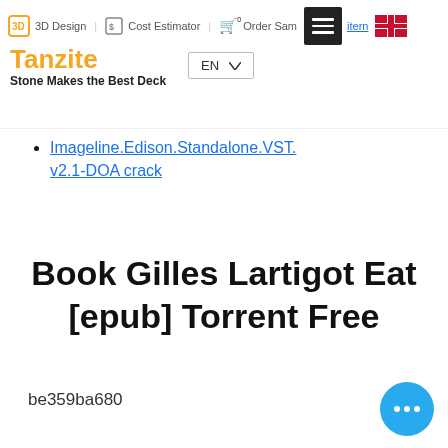Tanzite — Stone Makes the Best Deck | 3D Design | Cost Estimator | Order Sample | EN
Imageline.Edison.Standalone.VST.v2.1-DOA crack
Book Gilles Lartigot Eat [epub] Torrent Free
be359ba680